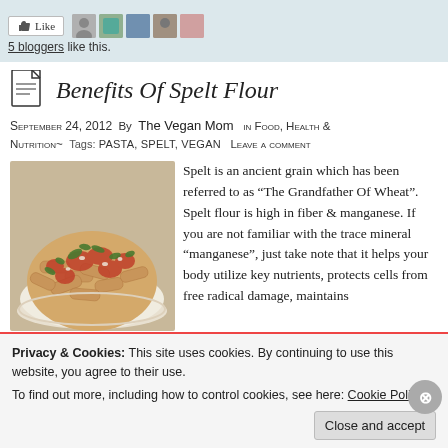5 bloggers like this.
Benefits Of Spelt Flour
September 24, 2012  By  The Vegan Mom   in Food, Health & Nutrition~  Tags: pasta, spelt, vegan   Leave a comment
[Figure (photo): A plate of penne pasta with tomato sauce and fresh herbs/vegetables]
Spelt is an ancient grain which has been referred to as “The Grandfather Of Wheat”. Spelt flour is high in fiber & manganese. If you are not familiar with the trace mineral “manganese”, just take note that it helps your body utilize key nutrients, protects cells from free radical damage, maintains normal blood sugar levels, promotes optimal function of your thyroid...
Privacy & Cookies: This site uses cookies. By continuing to use this website, you agree to their use.
To find out more, including how to control cookies, see here: Cookie Policy
Close and accept